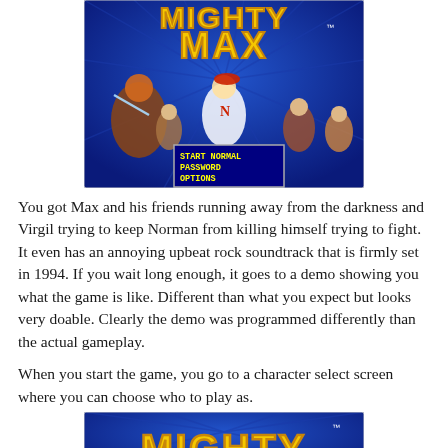[Figure (screenshot): Mighty Max video game title screen showing characters running with START NORMAL, PASSWORD, OPTIONS menu visible on a blue background with yellow stylized title text.]
You got Max and his friends running away from the darkness and Virgil trying to keep Norman from killing himself trying to fight. It even has an annoying upbeat rock soundtrack that is firmly set in 1994. If you wait long enough, it goes to a demo showing you what the game is like. Different than what you expect but looks very doable. Clearly the demo was programmed differently than the actual gameplay.
When you start the game, you go to a character select screen where you can choose who to play as.
[Figure (screenshot): Mighty Max video game screen showing partial title on blue background with yellow stylized text.]